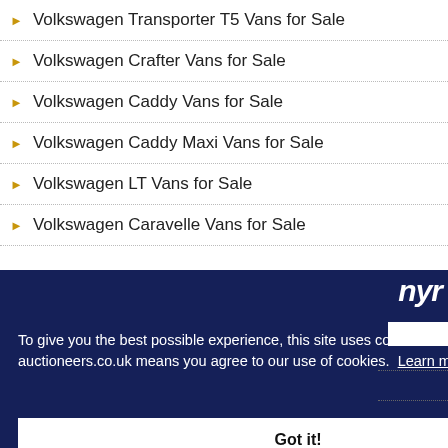Volkswagen Transporter T5 Vans for Sale
Volkswagen Crafter Vans for Sale
Volkswagen Caddy Vans for Sale
Volkswagen Caddy Maxi Vans for Sale
Volkswagen LT Vans for Sale
Volkswagen Caravelle Vans for Sale
To give you the best possible experience, this site uses cookies. Continuing to use auctioneers.co.uk means you agree to our use of cookies. Learn more
Got it!